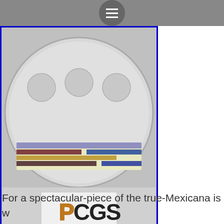≡
[Figure (photo): Photo of a PCGS-graded coin in a plastic slab case, showing the PCGS label with holographic security features and the PCGS logo. The coin appears to be a silver Mexican Libertad. An eBay watermark is visible on the coin slab image.]
View on eBay
For a spectacular-piece of the true-Mexicana is w perfect PCGS MS-70 Crown-Size Medallic-Silver-Bu Once Libertad Winged-Victory Flag-Label with the grades-1,767 and with the Top-Pop by the PCGS- >BLAST-WHITE 2019-Mo PERFECT PCGS MS-70 ME